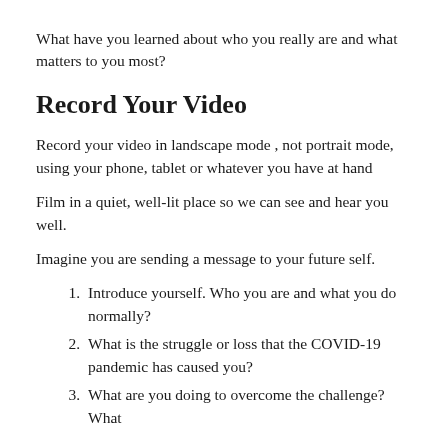What have you learned about who you really are and what matters to you most?
Record Your Video
Record your video in landscape mode , not portrait mode, using your phone, tablet or whatever you have at hand
Film in a quiet, well-lit place so we can see and hear you well.
Imagine you are sending a message to your future self.
1. Introduce yourself. Who you are and what you do normally?
2. What is the struggle or loss that the COVID-19 pandemic has caused you?
3. What are you doing to overcome the challenge? What